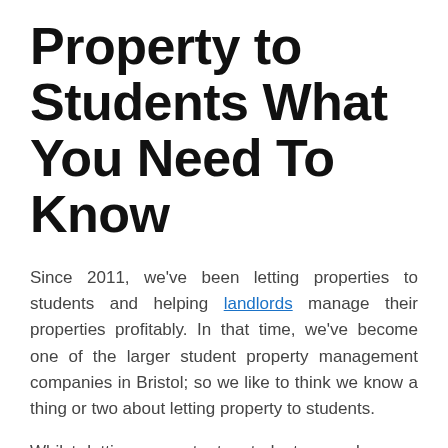Property to Students What You Need To Know
Since 2011, we've been letting properties to students and helping landlords manage their properties profitably. In that time, we've become one of the larger student property management companies in Bristol; so we like to think we know a thing or two about letting property to students.
Whilst letting property to students can be very profitable, it is not without its complexities. In our latest blog post, we'll some of the key things you